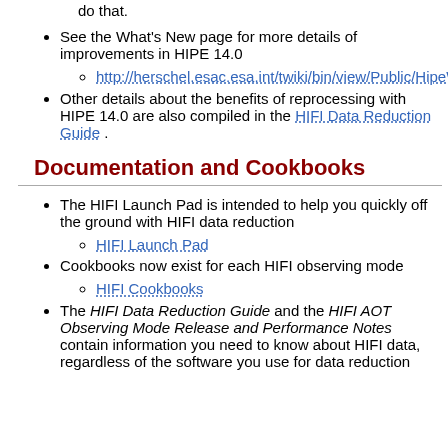do that.
See the What's New page for more details of improvements in HIPE 14.0
http://herschel.esac.esa.int/twiki/bin/view/Public/HipeWh...
Other details about the benefits of reprocessing with HIPE 14.0 are also compiled in the HIFI Data Reduction Guide .
Documentation and Cookbooks
The HIFI Launch Pad is intended to help you quickly off the ground with HIFI data reduction
HIFI Launch Pad
Cookbooks now exist for each HIFI observing mode
HIFI Cookbooks
The HIFI Data Reduction Guide and the HIFI AOT Observing Mode Release and Performance Notes contain information you need to know about HIFI data, regardless of the software you use for data reduction